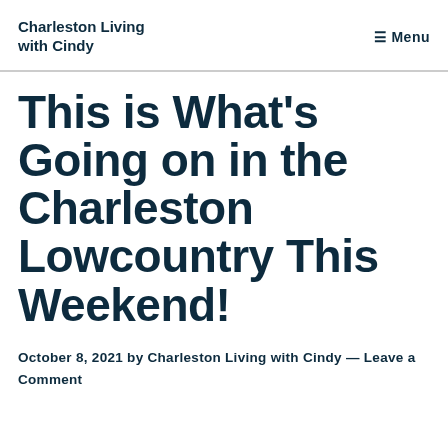Charleston Living with Cindy
This is What's Going on in the Charleston Lowcountry This Weekend!
October 8, 2021 by Charleston Living with Cindy — Leave a Comment